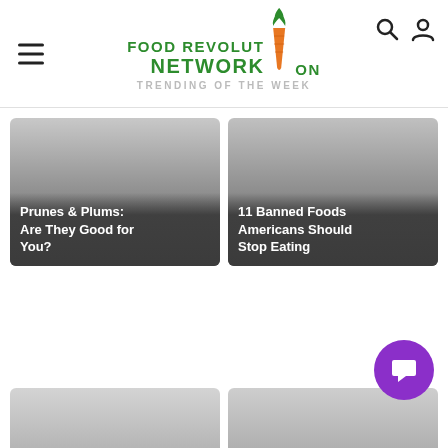Food Revolution Network — TRENDING OF THE WEEK
[Figure (illustration): Card image placeholder for Prunes & Plums article]
Prunes & Plums: Are They Good for You?
[Figure (illustration): Card image placeholder for 11 Banned Foods article]
11 Banned Foods Americans Should Stop Eating
[Figure (illustration): Partially visible card image bottom row left]
[Figure (illustration): Partially visible card image bottom row right]